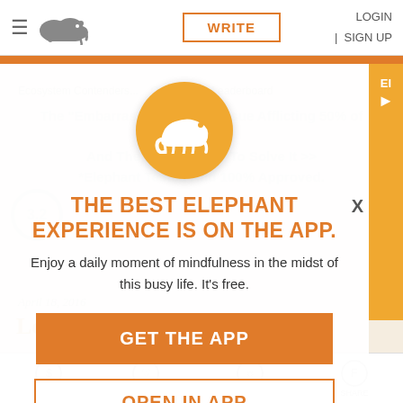LOGIN | SIGN UP
[Figure (screenshot): Website navigation bar with hamburger menu, elephant logo, WRITE button, LOGIN and SIGN UP links]
Ecosystem Contenders... Contribution Leaderboard
The "Embarrassing" Health Issue Afflicting 50% of Women? And The Surefire Way To Solve It >> *Elephant Tested And 100% Approved.
[Figure (logo): Elephant logo in orange circle used as app promotion modal icon]
THE BEST ELEPHANT EXPERIENCE IS ON THE APP.
Enjoy a daily moment of mindfulness in the midst of this busy life. It's free.
GET THE APP
April 18, 2016
Loving Rig
OPEN IN APP
BOOST  HEART  COMMENT  SHARE